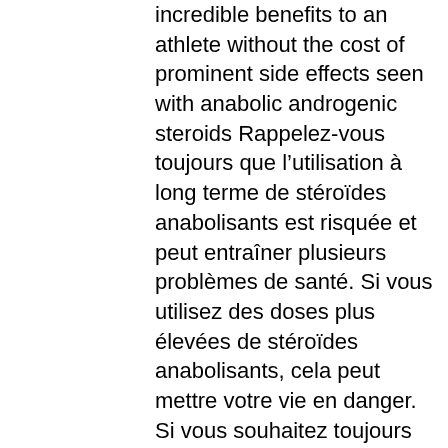incredible benefits to an athlete without the cost of prominent side effects seen with anabolic androgenic steroids Rappelez-vous toujours que l&rsquo;utilisation à long terme de stéroïdes anabolisants est risquée et peut entraîner plusieurs problèmes de santé. Si vous utilisez des doses plus élevées de stéroïdes anabolisants, cela peut mettre votre vie en danger. Si vous souhaitez toujours les utiliser, vous devez connaître les meilleurs stéroïdes de musculation pour débutants. Avec cet article, vous devriez mieux comprendre le cycle des stéroïdes, sarms side effects rad 140.
commander légal anabolisants stéroïde gain de muscle.
Foro desafio hosting  perfil del usuario &gt; perfil página. Usuario: achat cure de testosterone 1-test cyp 100 dragon pharma, achat steroide thailande., clenbuterol cycle